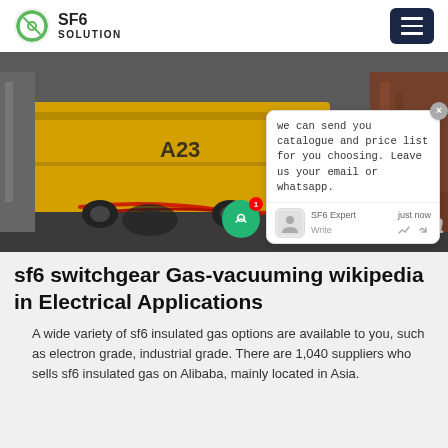SF6 SOLUTION
[Figure (photo): Yellow utility trucks/vehicles labeled A23 and S2E parked in an industrial area, with red cables visible. A chat popup overlay shows a message from SF6 Expert about sending catalogue and price list, asking for email or WhatsApp contact.]
sf6 switchgear Gas-vacuuming wikipedia in Electrical Applications
A wide variety of sf6 insulated gas options are available to you, such as electron grade, industrial grade. There are 1,040 suppliers who sells sf6 insulated gas on Alibaba, mainly located in Asia.